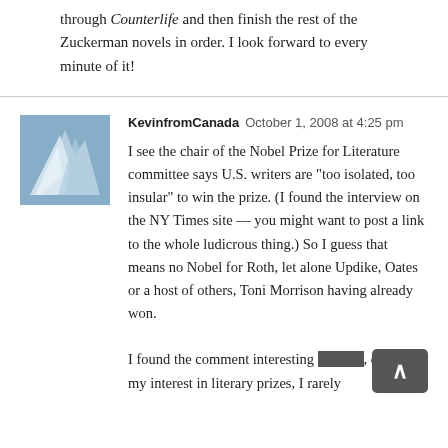through Counterlife and then finish the rest of the Zuckerman novels in order. I look forward to every minute of it!
KevinfromCanada  October 1, 2008 at 4:25 pm
[Figure (photo): Avatar image showing folded white paper or fabric against a blue background]
I see the chair of the Nobel Prize for Literature committee says U.S. writers are "too isolated, too insular" to win the prize. (I found the interview on the NY Times site — you might want to post a link to the whole ludicrous thing.) So I guess that means no Nobel for Roth, let alone Updike, Oates or a host of others, Toni Morrison having already won.
I found the comment interesting because, despite my interest in literary prizes, I rarely